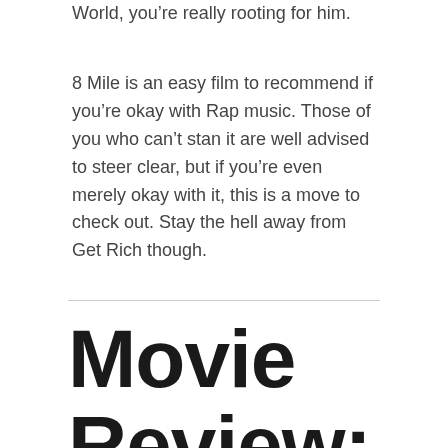World, you're really rooting for him.
8 Mile is an easy film to recommend if you're okay with Rap music. Those of you who can't stan it are well advised to steer clear, but if you're even merely okay with it, this is a move to check out. Stay the hell away from Get Rich though.
Movie Review: Get